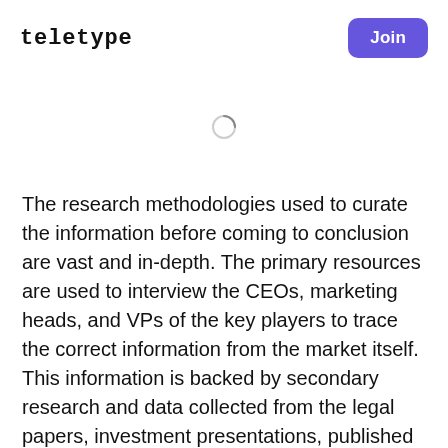TELETYPE
[Figure (other): Loading spinner icon (circular progress indicator)]
The research methodologies used to curate the information before coming to conclusion are vast and in-depth. The primary resources are used to interview the CEOs, marketing heads, and VPs of the key players to trace the correct information from the market itself. This information is backed by secondary research and data collected from the legal papers, investment presentations, published information by companies and associated regulatory